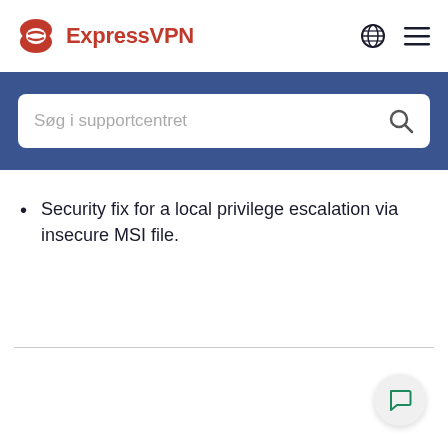ExpressVPN
Søg i supportcentret
Security fix for a local privilege escalation via insecure MSI file.